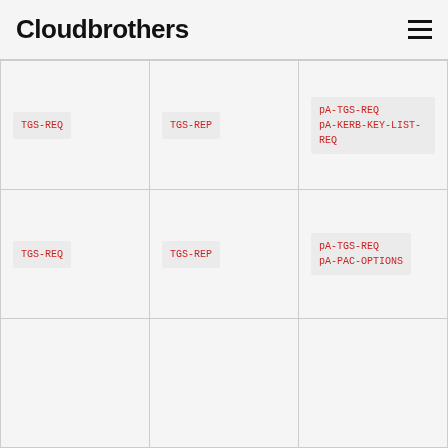Cloudbrothers
| TGS-REQ | TGS-REP | pA-TGS-REQ
pA-KERB-KEY-LIST-REQ |
| TGS-REQ | TGS-REP | pA-TGS-REQ
pA-PAC-OPTIONS |
|  |  |  |